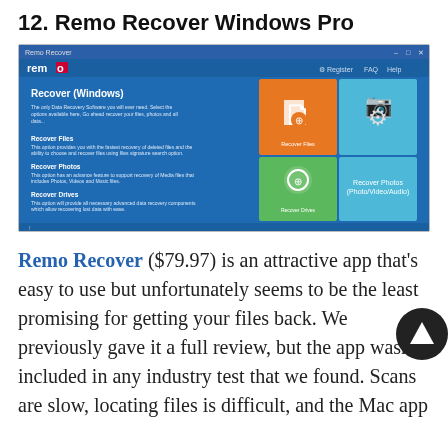12. Remo Recover Windows Pro
[Figure (screenshot): Screenshot of Remo Recover (Windows) application showing the main interface with options for Recover Files, Recover Photos, and Recover Drives, with colored tiles on the right side.]
Remo Recover ($79.97) is an attractive app that’s easy to use but unfortunately seems to be the least promising for getting your files back. We previously gave it a full review, but the app wasn’t included in any industry test that we found. Scans are slow, locating files is difficult, and the Mac app